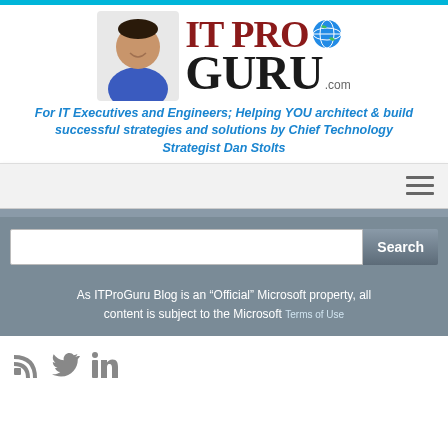[Figure (logo): IT Pro Guru logo with globe icon and a photo of Dan Stolts]
For IT Executives and Engineers; Helping YOU architect & build successful strategies and solutions by Chief Technology Strategist Dan Stolts
[Figure (screenshot): Navigation bar with hamburger menu icon]
[Figure (screenshot): Search bar with search button]
As ITProGuru Blog is an “Official” Microsoft property, all content is subject to the Microsoft Terms of Use
[Figure (infographic): Social media icons: RSS feed, Twitter bird, LinkedIn]